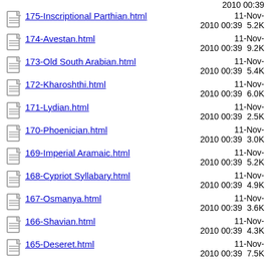175-Inscriptional Parthian.html  11-Nov-2010 00:39  5.2K
174-Avestan.html  11-Nov-2010 00:39  9.2K
173-Old South Arabian.html  11-Nov-2010 00:39  5.4K
172-Kharoshthi.html  11-Nov-2010 00:39  6.0K
171-Lydian.html  11-Nov-2010 00:39  2.5K
170-Phoenician.html  11-Nov-2010 00:39  3.0K
169-Imperial Aramaic.html  11-Nov-2010 00:39  5.2K
168-Cypriot Syllabary.html  11-Nov-2010 00:39  4.9K
167-Osmanya.html  11-Nov-2010 00:39  3.6K
166-Shavian.html  11-Nov-2010 00:39  4.3K
165-Deseret.html  11-Nov-2010 00:39  7.5K